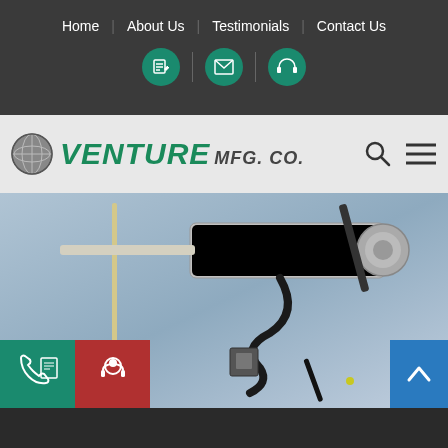Home | About Us | Testimonials | Contact Us
[Figure (logo): Venture MFG. Co. company logo with globe icon]
[Figure (photo): Industrial actuators and antennas product photo on blue-grey background]
[Figure (other): Phone/quote FAB button (green), Chat FAB button (red), Scroll-to-top button (blue)]